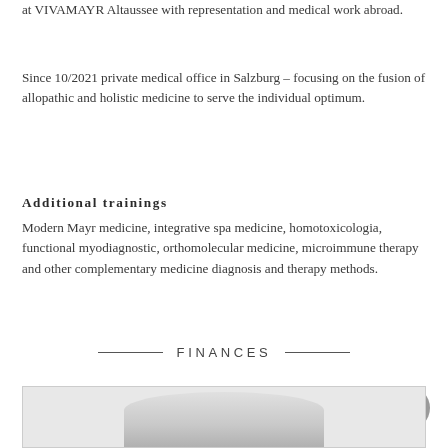at VIVAMAYR Altaussee with representation and medical work abroad.
Since 10/2021 private medical office in Salzburg – focusing on the fusion of allopathic and holistic medicine to serve the individual optimum.
Additional trainings
Modern Mayr medicine, integrative spa medicine, homotoxicologia, functional myodiagnostic, orthomolecular medicine, microimmune therapy and other complementary medicine diagnosis and therapy methods.
FINANCES
[Figure (photo): Partial photo at the bottom of the page, showing a blurred object against a light background, likely medical or wellness related.]